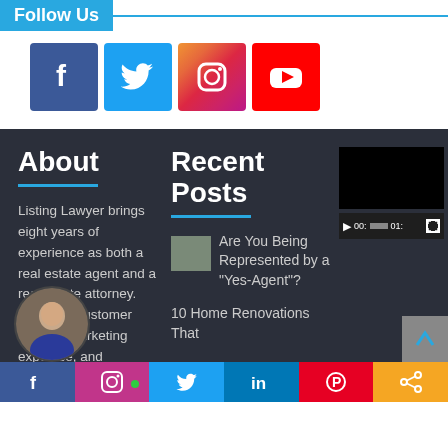Follow Us
[Figure (infographic): Four social media icon buttons: Facebook (blue), Twitter (blue bird), Instagram (gradient), YouTube (red)]
About
Listing Lawyer brings eight years of experience as both a real estate agent and a real estate attorney. Excellent customer service, marketing expertise, and knowledge of the
Recent Posts
Are You Being Represented by a "Yes-Agent"?
10 Home Renovations That
[Figure (screenshot): Video player with black thumbnail and playback controls showing 00:, progress bar, 01:, and fullscreen button]
[Figure (infographic): Bottom social sharing bar with icons for Facebook, Instagram, Twitter, LinkedIn, Pinterest, and Share]